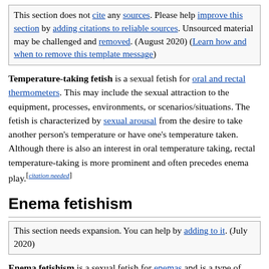This section does not cite any sources. Please help improve this section by adding citations to reliable sources. Unsourced material may be challenged and removed. (August 2020) (Learn how and when to remove this template message)
Temperature-taking fetish is a sexual fetish for oral and rectal thermometers. This may include the sexual attraction to the equipment, processes, environments, or scenarios/situations. The fetish is characterized by sexual arousal from the desire to take another person's temperature or have one's temperature taken. Although there is also an interest in oral temperature taking, rectal temperature-taking is more prominent and often precedes enema play.[citation needed]
Enema fetishism
This section needs expansion. You can help by adding to it. (July 2020)
Enema fetishism is a sexual fetish for enemas and is a type of klismaphilia, the general enjoyment of enemas, and hence those enjoying enemas are referred to as klismaphiliacs. This fetish includes not only giving and receiving enemas but also sexual attraction to the equipment, processes, environments, situations, or